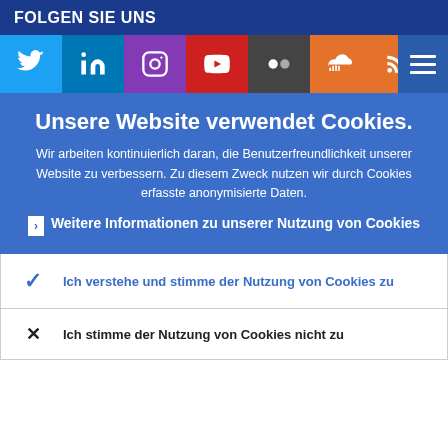FOLGEN SIE UNS
[Figure (infographic): Social media icons row: Twitter (blue), LinkedIn (blue), Instagram (purple), YouTube (red), Flickr (grey/dark), SoundCloud (orange), RSS (orange)]
Unsere Website verwendet Cookies.
Wir arbeiten kontinuierlich daran, die Benutzerfreundlichkeit unserer Website zu verbessern. Zu diesem Zweck nutzen wir durch Cookies erfasste anonymisierte Daten.
Weitere Informationen zu unserer Nutzung von Cookies
Ich verstehe und stimme der Nutzung von Cookies zu
Ich stimme der Nutzung von Cookies nicht zu